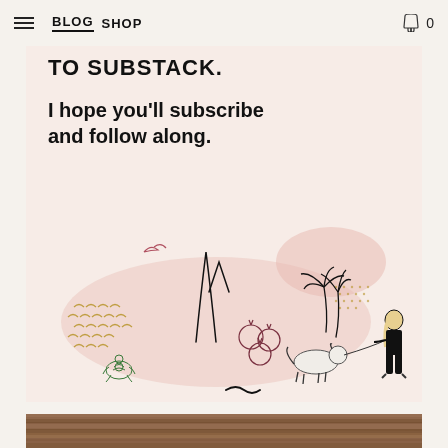BLOG  SHOP  0
[Figure (illustration): Illustrated scene with text 'to SUBSTACK. I hope you'll subscribe and follow along.' featuring hand-drawn elements: palm trees, mountains/geysers, small animal figures, a woman walking a dog, fish pattern, turtle, pink watercolor blobs, and small botanical elements on a light pink/cream background.]
[Figure (photo): Wooden plank texture background, brown/warm tones, visible at bottom of page.]